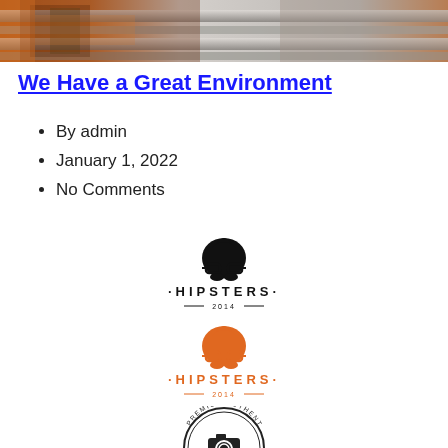[Figure (photo): Industrial machinery/assembly line photo at top of page]
We Have a Great Environment
By admin
January 1, 2022
No Comments
[Figure (logo): Black and white Hipsters 2014 logo with hipster character face]
[Figure (logo): Orange Hipsters 2014 logo with hipster character face]
[Figure (logo): Premium Authentic Product circular stamp logo with camera on tripod]
[Figure (logo): Partial orange circular authentic stamp logo at bottom]